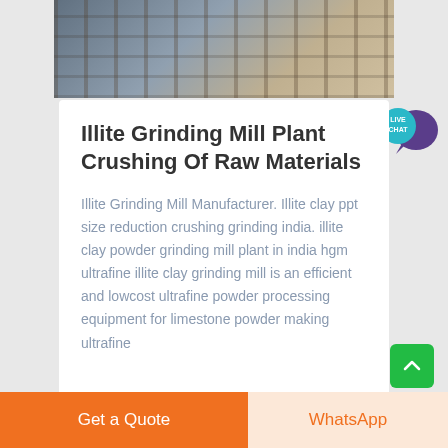[Figure (photo): Industrial grinding mill plant machinery and equipment at a facility site]
Illite Grinding Mill Plant Crushing Of Raw Materials
Illite Grinding Mill Manufacturer. Illite clay ppt size reduction crushing grinding india. illite clay powder grinding mill plant in india hgm ultrafine illite clay grinding mill is an efficient and lowcost ultrafine powder processing equipment for limestone powder making ultrafine
[Figure (other): Live Chat widget button]
Get a Quote | WhatsApp